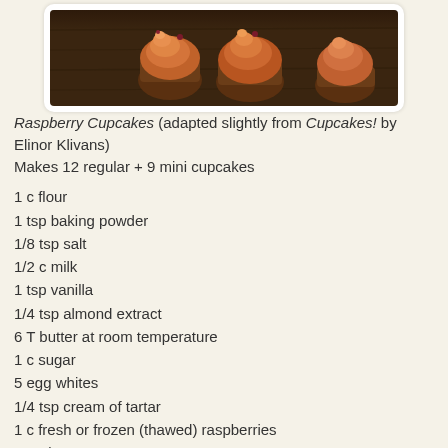[Figure (photo): Close-up photo of raspberry cupcakes on a wooden surface, showing orange/red frosted cupcakes with a dark background]
Raspberry Cupcakes (adapted slightly from Cupcakes! by Elinor Klivans)
Makes 12 regular + 9 mini cupcakes
1 c flour
1 tsp baking powder
1/8 tsp salt
1/2 c milk
1 tsp vanilla
1/4 tsp almond extract
6 T butter at room temperature
1 c sugar
5 egg whites
1/4 tsp cream of tartar
1 c fresh or frozen (thawed) raspberries
Frosting
1 c fresh or frozen (thawed) raspberries
6 T butter